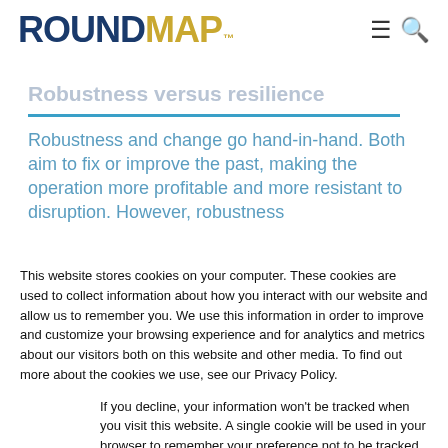ROUNDMAP™
Robustness versus resilience
Robustness and change go hand-in-hand. Both aim to fix or improve the past, making the operation more profitable and more resistant to disruption. However, robustness
This website stores cookies on your computer. These cookies are used to collect information about how you interact with our website and allow us to remember you. We use this information in order to improve and customize your browsing experience and for analytics and metrics about our visitors both on this website and other media. To find out more about the cookies we use, see our Privacy Policy.
If you decline, your information won't be tracked when you visit this website. A single cookie will be used in your browser to remember your preference not to be tracked.